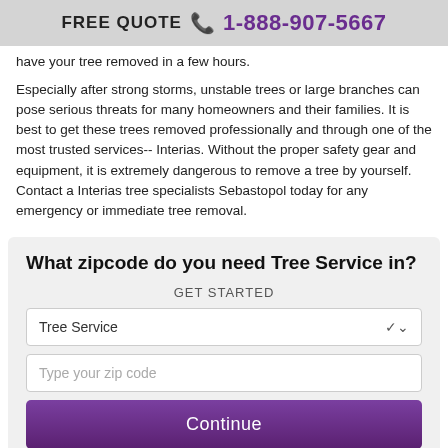FREE QUOTE  1-888-907-5667
have your tree removed in a few hours.
Especially after strong storms, unstable trees or large branches can pose serious threats for many homeowners and their families. It is best to get these trees removed professionally and through one of the most trusted services-- Interias. Without the proper safety gear and equipment, it is extremely dangerous to remove a tree by yourself. Contact a Interias tree specialists Sebastopol today for any emergency or immediate tree removal.
What zipcode do you need Tree Service in?
GET STARTED
Tree Service
Type your zip code
Continue
~ OR ~